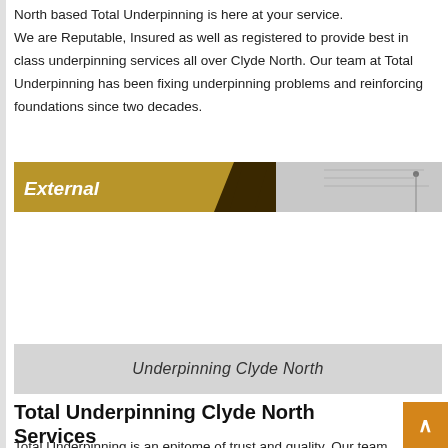North based Total Underpinning is here at your service.
We are Reputable, Insured as well as registered to provide best in class underpinning services all over Clyde North. Our team at Total Underpinning has been fixing underpinning problems and reinforcing foundations since two decades.
[Figure (illustration): A banner image with 'External' text on a gold/brown background with a gray section showing a building/engineering image on the right.]
Underpinning Clyde North
Total Underpinning Clyde North Services
Total Underpinning is an epitome of trust and quality. Our team